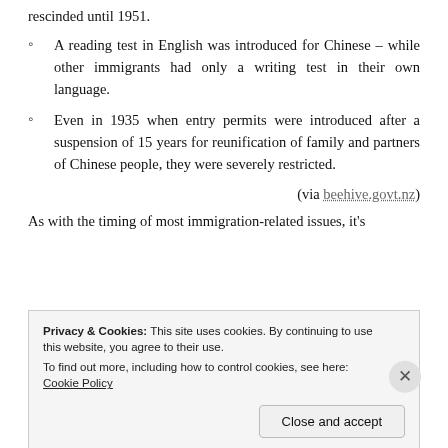rescinded until 1951.
A reading test in English was introduced for Chinese – while other immigrants had only a writing test in their own language.
Even in 1935 when entry permits were introduced after a suspension of 15 years for reunification of family and partners of Chinese people, they were severely restricted.
(via beehive.govt.nz)
As with the timing of most immigration-related issues, it's
Privacy & Cookies: This site uses cookies. By continuing to use this website, you agree to their use. To find out more, including how to control cookies, see here: Cookie Policy
Close and accept
EICENT NEV...